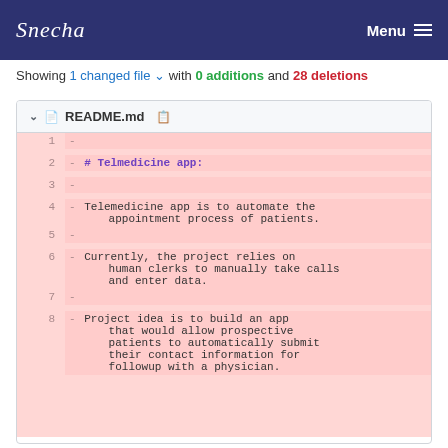Snecha  Menu
Showing 1 changed file with 0 additions and 28 deletions
README.md
1  -
2  - # Telmedicine app:
3  -
4  - Telemedicine app is to automate the appointment process of patients.
5  -
6  - Currently, the project relies on human clerks to manually take calls and enter data.
7  -
8  - Project idea is to build an app that would allow prospective patients to automatically submit their contact information for followup with a physician.